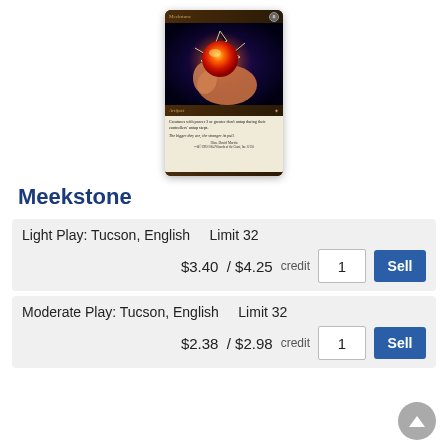[Figure (illustration): Meekstone Magic: The Gathering card showing a glowing hand holding a red orb with lightning against a dark purple background. Card text reads: 'Creatures with power 3 or greater don't untap during their controllers' untap steps. The bigger they are, the stronger its pull.' Illus. David Martin]
Meekstone
Light Play: Tucson, English    Limit 32
$3.40  / $4.25  credit    1    Sell
Moderate Play: Tucson, English    Limit 32
$2.38  / $2.98  credit    1    Sell